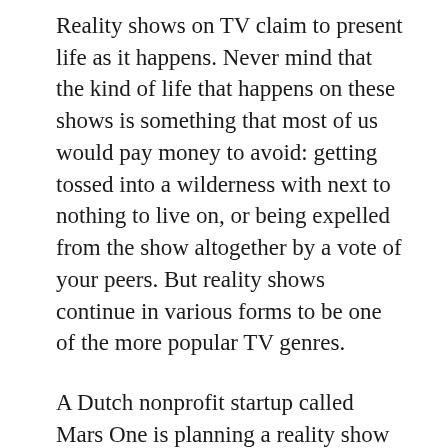Reality shows on TV claim to present life as it happens. Never mind that the kind of life that happens on these shows is something that most of us would pay money to avoid: getting tossed into a wilderness with next to nothing to live on, or being expelled from the show altogether by a vote of your peers. But reality shows continue in various forms to be one of the more popular TV genres.
A Dutch nonprofit startup called Mars One is planning a reality show that is literally out of this world. The organization's plan is to send four astronauts—two men and two women—to Mars by 2025, that is, eleven years from now. And they plan for their main source of revenue to be fees charged by the outfit for continuous media coverage of the